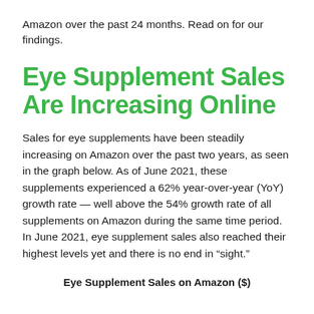Amazon over the past 24 months. Read on for our findings.
Eye Supplement Sales Are Increasing Online
Sales for eye supplements have been steadily increasing on Amazon over the past two years, as seen in the graph below. As of June 2021, these supplements experienced a 62% year-over-year (YoY) growth rate — well above the 54% growth rate of all supplements on Amazon during the same time period. In June 2021, eye supplement sales also reached their highest levels yet and there is no end in “sight.”
Eye Supplement Sales on Amazon ($)